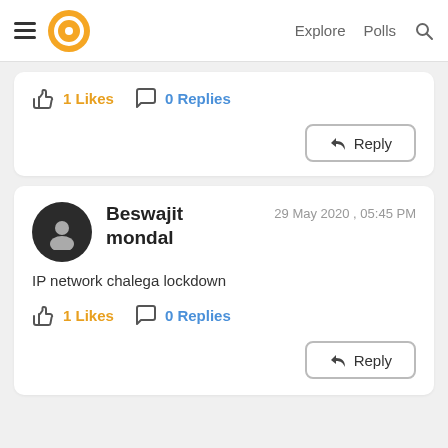Explore  Polls  Search
1 Likes  0 Replies
Reply
Beswajit mondal  29 May 2020 , 05:45 PM
IP network chalega lockdown
1 Likes  0 Replies
Reply